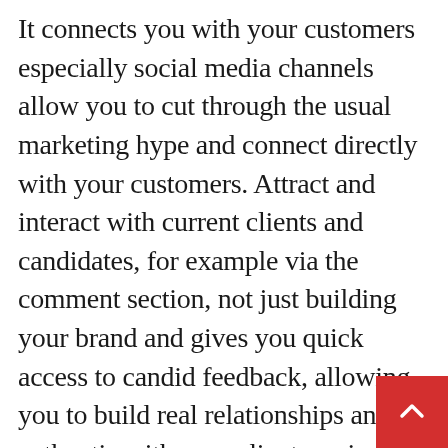It connects you with your customers especially social media channels allow you to cut through the usual marketing hype and connect directly with your customers. Attract and interact with current clients and candidates, for example via the comment section, not just building your brand and gives you quick access to candid feedback, allowing you to build real relationships and authentic with your clients, gain their trust and get a recommendation instantaneously to their friends'. It also gives you a direct line to the target demographic, and the opportunity to just ask them questions and get honest answers without censorship, because constructive criticism